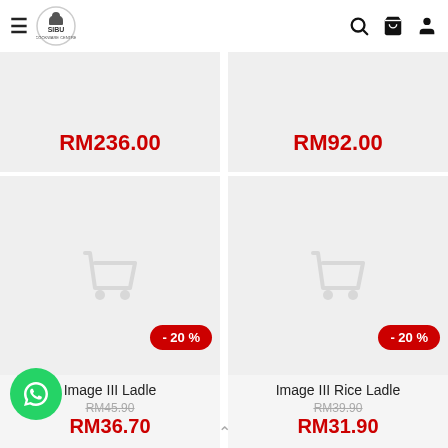[Figure (logo): Sibu Cookware Centre logo with chef hat icon]
RM236.00
RM92.00
[Figure (screenshot): Product card: Image III Ladle with shopping cart placeholder icon, -20% badge, original price RM45.90, sale price RM36.70]
[Figure (screenshot): Product card: Image III Rice Ladle with shopping cart placeholder icon, -20% badge, original price RM39.90, sale price RM31.90]